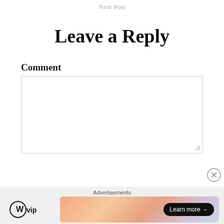Next Post
Leave a Reply
Comment
[Figure (screenshot): Empty comment text area input box with resize handle in bottom right corner]
[Figure (screenshot): Close button (X in circle) overlay]
Advertisements — WordPress VIP logo with Learn more button on gradient banner ad